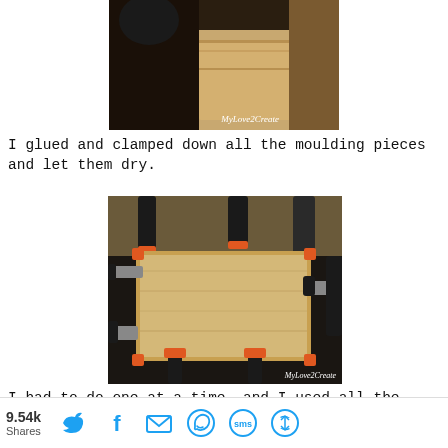[Figure (photo): Partial top photo showing wooden piece and gloved hand, with MyLove2Create watermark]
I glued and clamped down all the moulding pieces and let them dry.
[Figure (photo): Wood board clamped with multiple bar clamps and C-clamps on workbench, with MyLove2Create watermark]
I had to do one at a time, and I used all the clamps I have.  I really need more clamps, but I am so grateful I at least had them.
9.54k Shares [Twitter] [Facebook] [Email] [WhatsApp] [SMS] [Flipboard]